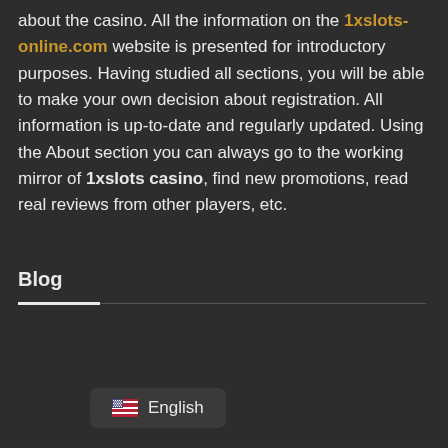about the casino. All the information on the 1xslots-online.com website is presented for introductory purposes. Having studied all sections, you will be able to make your own decision about registration. All information is up-to-date and regularly updated. Using the About section you can always go to the working mirror of 1xslots casino, find new promotions, read real reviews from other players, etc.
Blog
English